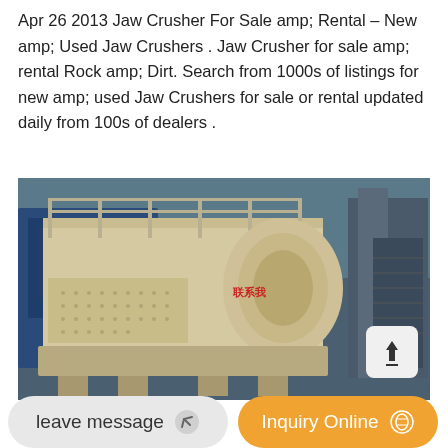Apr 26 2013 Jaw Crusher For Sale amp; Rental – New amp; Used Jaw Crushers . Jaw Crusher for sale amp; rental Rock amp; Dirt. Search from 1000s of listings for new amp; used Jaw Crushers for sale or rental updated daily from 100s of dealers .
[Figure (photo): Industrial jaw crusher machine, cream/beige colored, mounted on a platform with railings and perforated metal panels, set inside a large industrial facility with blue machinery visible in background.]